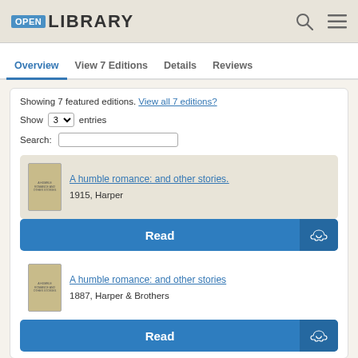OPEN LIBRARY
Overview  View 7 Editions  Details  Reviews
Showing 7 featured editions. View all 7 editions?
Show 3 entries
Search:
A humble romance: and other stories.
1915, Harper
Read
A humble romance: and other stories
1887, Harper & Brothers
Read